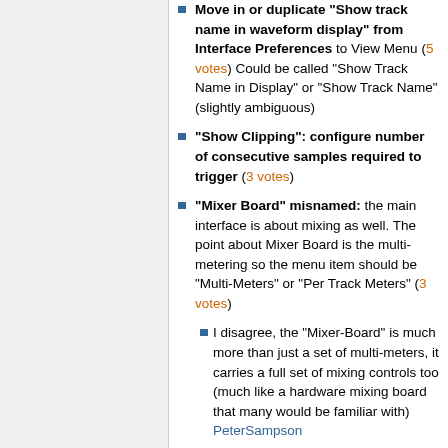Move in or duplicate "Show track name in waveform display" from Interface Preferences to View Menu (5 votes) Could be called "Show Track Name in Display" or "Show Track Name" (slightly ambiguous)
"Show Clipping": configure number of consecutive samples required to trigger (3 votes)
"Mixer Board" misnamed: the main interface is about mixing as well. The point about Mixer Board is the multi-metering so the menu item should be "Multi-Meters" or "Per Track Meters" (3 votes)
I disagree, the "Mixer-Board" is much more than just a set of multi-meters, it carries a full set of mixing controls too (much like a hardware mixing board that many would be familiar with) PeterSampson
I've seen a number of comments pointing out "you can mix without Mixer Board..."